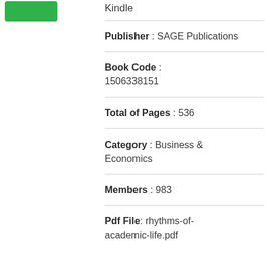[Figure (logo): Green rounded rectangle logo (partial, top-left)]
Kindle
Publisher : SAGE Publications
Book Code : 1506338151
Total of Pages : 536
Category : Business & Economics
Members : 983
Pdf File: rhythms-of-academic-life.pdf